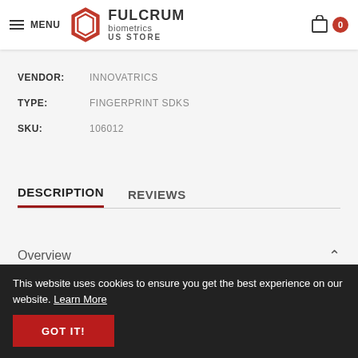MENU | FULCRUM biometrics US STORE | Cart: 0
VENDOR: INNOVATRICS
TYPE: FINGERPRINT SDKS
SKU: 106012
DESCRIPTION | REVIEWS
Overview
This website uses cookies to ensure you get the best experience on our website. Learn More
GOT IT!